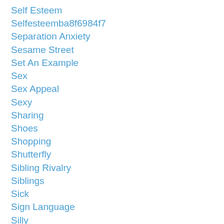Self Esteem
Selfesteemba8f6984f7
Separation Anxiety
Sesame Street
Set An Example
Sex
Sex Appeal
Sexy
Sharing
Shoes
Shopping
Shutterfly
Sibling Rivalry
Siblings
Sick
Sign Language
Silly
Sisters
Site
Size
Ski...